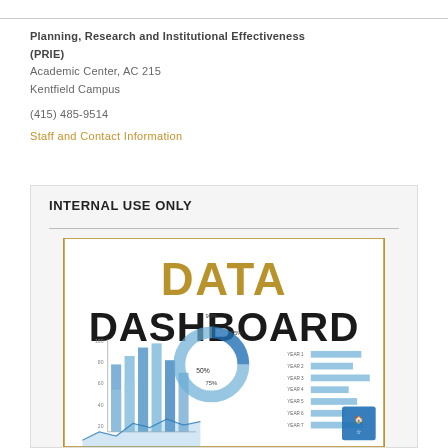Planning, Research and Institutional Effectiveness (PRIE)
Academic Center, AC 215
Kentfield Campus

(415) 485-9514
Staff and Contact Information
INTERNAL USE ONLY
[Figure (illustration): Data Dashboard promotional image showing the text 'DATA DASHBOARD' in large bold letters with various charts including bar charts and line charts in blue tones in the background.]